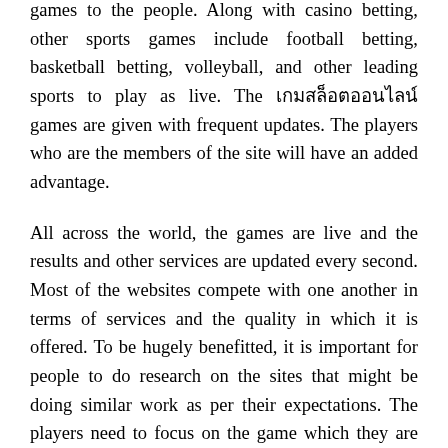games to the people. Along with casino betting, other sports games include football betting, basketball betting, volleyball, and other leading sports to play as live. The เกมสล็อตออนไลน์ games are given with frequent updates. The players who are the members of the site will have an added advantage.
All across the world, the games are live and the results and other services are updated every second. Most of the websites compete with one another in terms of services and the quality in which it is offered. To be hugely benefitted, it is important for people to do research on the sites that might be doing similar work as per their expectations. The players need to focus on the game which they are interested in after which, it is necessary to understand the game on how it is played and prepared for the site that provides the game. The